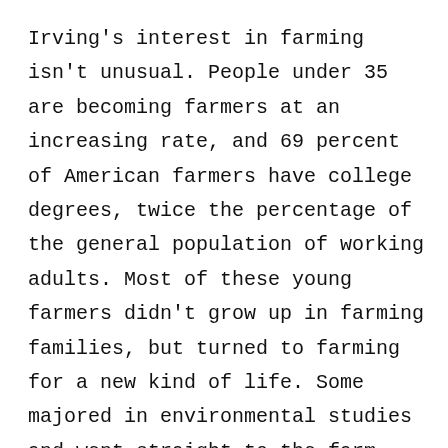Irving's interest in farming isn't unusual. People under 35 are becoming farmers at an increasing rate, and 69 percent of American farmers have college degrees, twice the percentage of the general population of working adults. Most of these young farmers didn't grow up in farming families, but turned to farming for a new kind of life. Some majored in environmental studies and went straight to the farm, while others traded office jobs for farm life, preferring soil to screens.
Irving doesn't intend to be a farmer, and she admits it's not an option she ponders in a classroom, though she kicks the idea around sometimes while